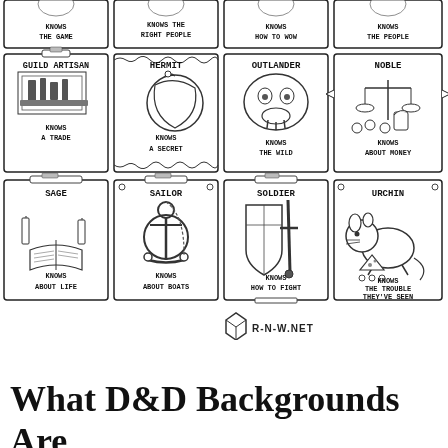[Figure (illustration): Grid of D&D background cards arranged in rows. Top row (partially visible): 4 cards with labels KNOWS THE GAME, KNOWS THE RIGHT PEOPLE, KNOWS HOW TO WOW, KNOWS THE PEOPLE. Middle row: GUILD ARTISAN (KNOWS A TRADE), HERMIT (KNOWS A SECRET), OUTLANDER (KNOWS THE WILD), NOBLE (KNOWS ABOUT MONEY). Bottom row: SAGE (KNOWS ABOUT LIFE), SAILOR (KNOWS ABOUT BOATS), SOLDIER (KNOWS HOW TO FIGHT), URCHIN (KNOWS THE TROUBLE THEY'VE SEEN). Watermark: R-N-W.NET]
What D&D Backgrounds Are